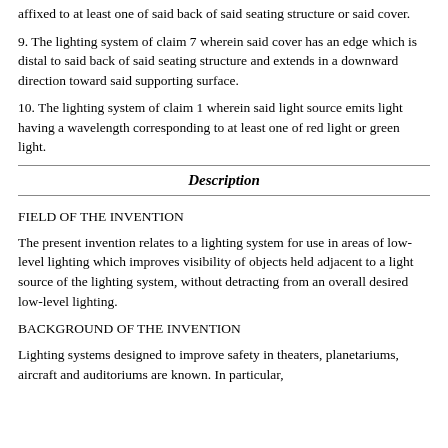affixed to at least one of said back of said seating structure or said cover.
9. The lighting system of claim 7 wherein said cover has an edge which is distal to said back of said seating structure and extends in a downward direction toward said supporting surface.
10. The lighting system of claim 1 wherein said light source emits light having a wavelength corresponding to at least one of red light or green light.
Description
FIELD OF THE INVENTION
The present invention relates to a lighting system for use in areas of low-level lighting which improves visibility of objects held adjacent to a light source of the lighting system, without detracting from an overall desired low-level lighting.
BACKGROUND OF THE INVENTION
Lighting systems designed to improve safety in theaters, planetariums, aircraft and auditoriums are known. In particular,